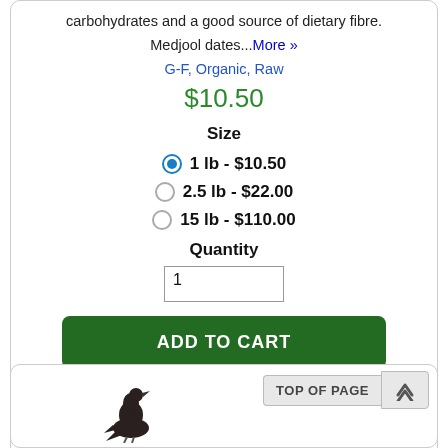carbohydrates and a good source of dietary fibre.
Medjool dates...More »
G-F, Organic, Raw
$10.50
Size
1 lb - $10.50
2.5 lb - $22.00
15 lb - $110.00
Quantity
1
ADD TO CART
TOP OF PAGE